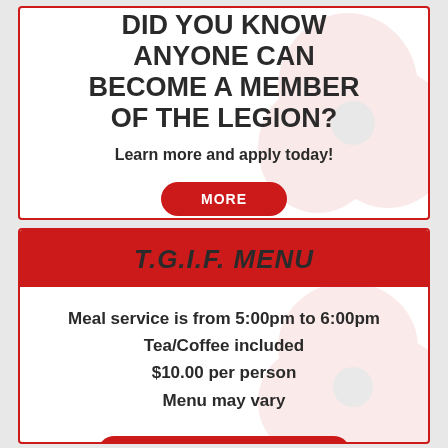DID YOU KNOW ANYONE CAN BECOME A MEMBER OF THE LEGION?
Learn more and apply today!
MORE
T.G.I.F. MENU
Meal service is from 5:00pm to 6:00pm Tea/Coffee included $10.00 per person Menu may vary
CLICK HERE FOR DETAILS